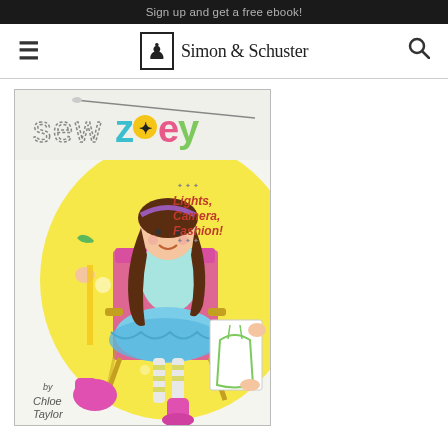Sign up and get a free ebook!
[Figure (logo): Simon & Schuster navigation bar with hamburger menu, Simon & Schuster logo (figure with box), and search icon]
[Figure (illustration): Book cover for 'Sew Zoey: Lights, Camera, Fashion!' by Chloe Taylor. Illustrated cover showing a girl with long brown hair wearing a blue ruffled skirt and aqua top, sitting in a director's chair on a yellow background. Title text 'sew zoey' at top with colorful letters. Text 'Lights, Camera, Fashion!' in pink/red. Author name 'by Chloe Taylor' at bottom left.]